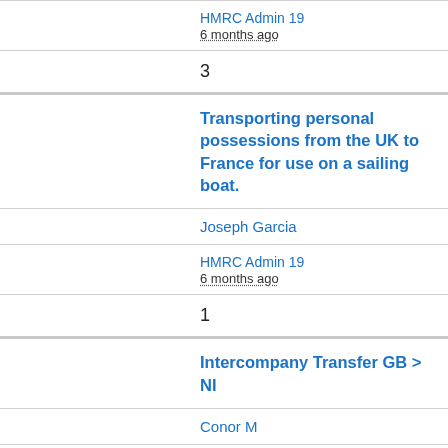HMRC Admin 19
6 months ago
3
Transporting personal possessions from the UK to France for use on a sailing boat.
Joseph Garcia
HMRC Admin 19
6 months ago
1
Intercompany Transfer GB > NI
Conor M
HMRC Admin 19
6 months ago